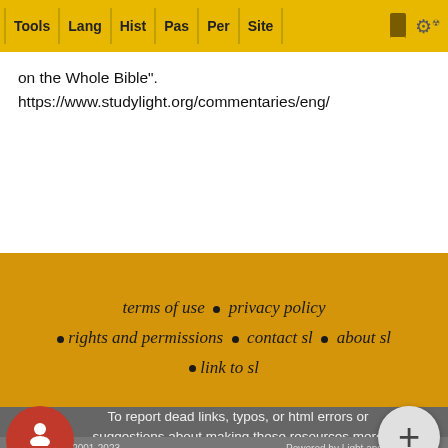Tools | Lang | Hist | Pas | Per | Site
on the Whole Bible". https://www.studylight.org/commentaries/eng/mhn/judges-11.html. 1706.
terms of use • privacy policy • rights and permissions • contact sl • about sl • link to sl
To report dead links, typos, or html errors or suggestions about making these resources more useful use the convenient contact form
StudyLight © 2001-2023 · Powered by Light and Technology